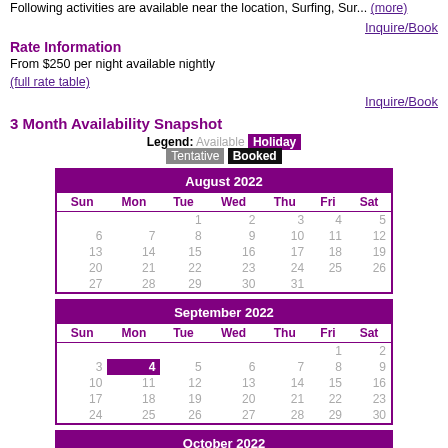Following activities are available near the location, Surfing, Sur... (more)
Inquire/Book
Rate Information
From $250 per night available nightly
(full rate table)
Inquire/Book
3 Month Availability Snapshot
[Figure (other): Availability calendar legend showing: Available (gray text), Holiday (purple background), Tentative (gray background), Booked (black background)]
[Figure (other): August 2022 availability calendar. All days shown in gray (available). Days: 1-6, 7-13, 14-20, 21-27, 28-31.]
[Figure (other): September 2022 availability calendar. Day 5 shown in purple (booked/holiday). Other days in gray. Days: 1-3, 4-10, 11-17, 18-24, 25-30.]
[Figure (other): October 2022 availability calendar. Day 10 shown in purple (booked/holiday). Other days in gray. Days: 1, 2-8, 9-15, 16-22.]